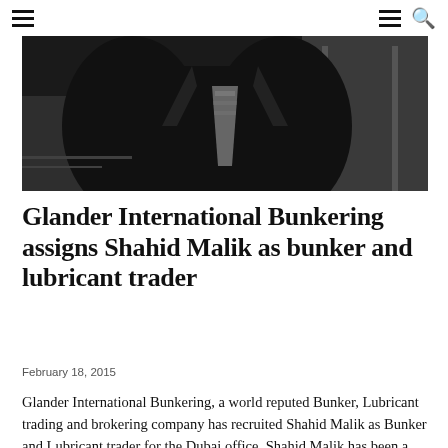☰   ☰  🔍
[Figure (photo): Black and white photograph of a man in a dark suit and patterned tie, cropped to show chest and lower face area, indoor background.]
Glander International Bunkering assigns Shahid Malik as bunker and lubricant trader
February 18, 2015
Glander International Bunkering, a world reputed Bunker, Lubricant trading and brokering company has recruited Shahid Malik as Bunker and Lubricant trader for the Dubai office. Shahid Malik has been a pioneer in the